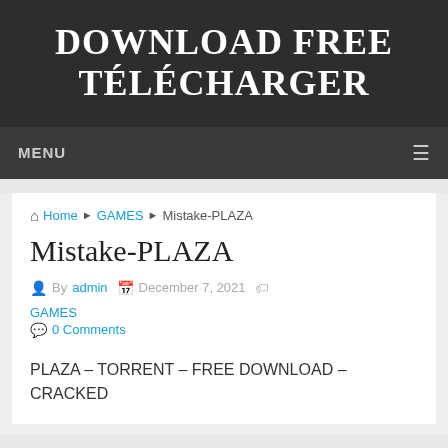DOWNLOAD FREE TÉLÉCHARGER
MENU
Home ▶ GAMES ▶ Mistake-PLAZA
Mistake-PLAZA
By admin   December 7, 2021   GAMES   0 Comments
PLAZA – TORRENT – FREE DOWNLOAD – CRACKED